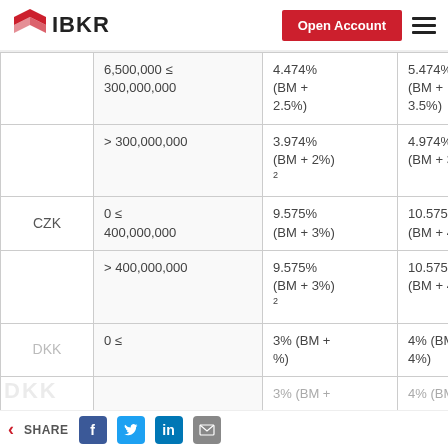IBKR | Open Account
| Currency | Balance Range | Pro Rate | Non-Pro Rate |
| --- | --- | --- | --- |
|  | 6,500,000 ≤ 300,000,000 | 4.474% (BM + 2.5%) | 5.474% (BM + 3.5%) |
|  | > 300,000,000 | 3.974% (BM + 2%)² | 4.974% (BM + 3%) |
| CZK | 0 ≤ 400,000,000 | 9.575% (BM + 3%) | 10.575% (BM + 4%) |
|  | > 400,000,000 | 9.575% (BM + 3%)² | 10.575% (BM + 4%) |
| DKK | 0 ≤ | 3% (BM + %) | 4% (BM + 4%) |
|  |  | 3% (BM + | 4% (BM + |
SHARE | Facebook | Twitter | LinkedIn | Email